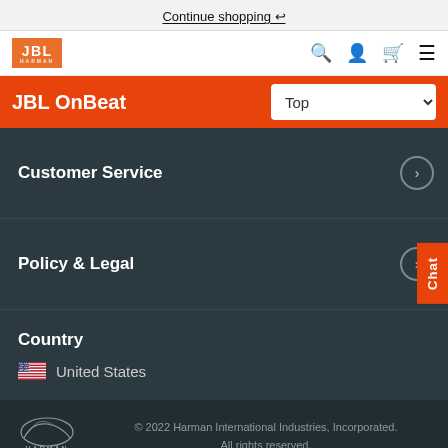Continue shopping ↩
[Figure (logo): JBL brand logo in orange square with 'HARMAN' sub-text]
JBL OnBeat
Customer Service
Policy & Legal
Country
United States
© 2022 Harman International Industries, Incorporated. All rights reserved.